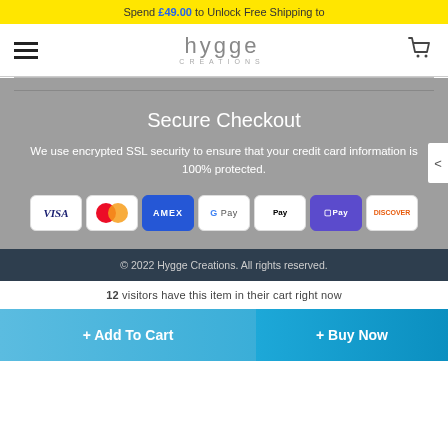Spend £49.00 to Unlock Free Shipping to
[Figure (screenshot): Hygge Creations logo with hamburger menu and cart icon navigation bar]
Secure Checkout
We use encrypted SSL security to ensure that your credit card information is 100% protected.
[Figure (infographic): Payment method icons: Visa, Mastercard, Amex, Google Pay, Apple Pay, D Pay, Discover]
© 2022 Hygge Creations. All rights reserved.
12 visitors have this item in their cart right now
+ Add To Cart
+ Buy Now